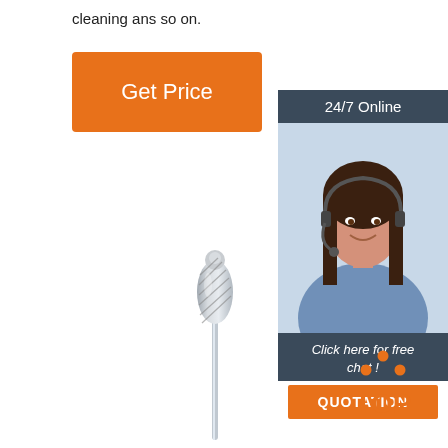cleaning ans so on.
[Figure (other): Orange 'Get Price' button]
[Figure (photo): 24/7 Online customer service widget with photo of a smiling woman with headset, 'Click here for free chat!' text, and orange QUOTATION button]
[Figure (illustration): Silver carbide rotary burr/drill bit tool illustration]
[Figure (other): Orange and dark 'TOP' back-to-top icon with triangle of dots above the word TOP]